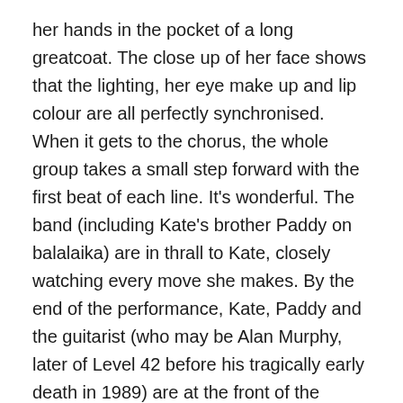her hands in the pocket of a long greatcoat. The close up of her face shows that the lighting, her eye make up and lip colour are all perfectly synchronised. When it gets to the chorus, the whole group takes a small step forward with the first beat of each line. It's wonderful. The band (including Kate's brother Paddy on balalaika) are in thrall to Kate, closely watching every move she makes. By the end of the performance, Kate, Paddy and the guitarist (who may be Alan Murphy, later of Level 42 before his tragically early death in 1989) are at the front of the stage, close enough to each other to be touching and clearly very proud of what they have just done.
It would be too easy to trivialise why I like this performance. I think it's perfectly appropriate to appreciate physical beauty and clearly, Kate is beautiful. But it's more than that. It's the combination of